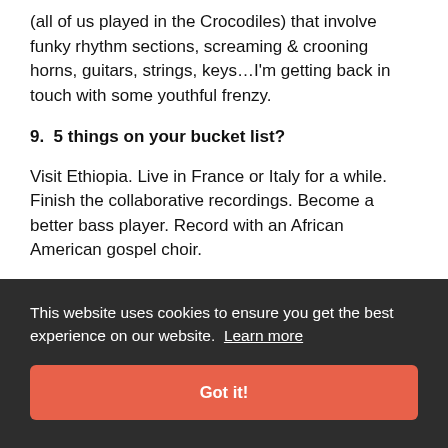(all of us played in the Crocodiles) that involve funky rhythm sections, screaming & crooning horns, guitars, strings, keys…I'm getting back in touch with some youthful frenzy.
9.  5 things on your bucket list?
Visit Ethiopia. Live in France or Italy for a while. Finish the collaborative recordings. Become a better bass player. Record with an African American gospel choir.
For details on our upcoming event in Buenos Aires,
the
This website uses cookies to ensure you get the best experience on our website. Learn more
Got it!